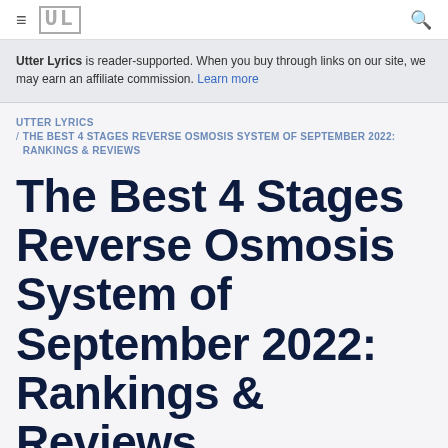≡ UL [search icon]
Utter Lyrics is reader-supported. When you buy through links on our site, we may earn an affiliate commission. Learn more
UTTER LYRICS / THE BEST 4 STAGES REVERSE OSMOSIS SYSTEM OF SEPTEMBER 2022: RANKINGS & REVIEWS
The Best 4 Stages Reverse Osmosis System of September 2022: Rankings & Reviews